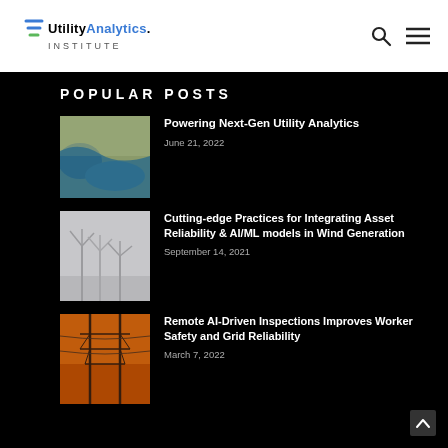Utility Analytics Institute
POPULAR POSTS
[Figure (photo): Aerial satellite view of coastline with blue water and brown land]
Powering Next-Gen Utility Analytics
June 21, 2022
[Figure (photo): Black and white photo of offshore wind turbines in fog]
Cutting-edge Practices for Integrating Asset Reliability & AI/ML models in Wind Generation
September 14, 2021
[Figure (photo): Orange-tinted photo of electricity transmission towers and power lines]
Remote AI-Driven Inspections Improves Worker Safety and Grid Reliability
March 7, 2022